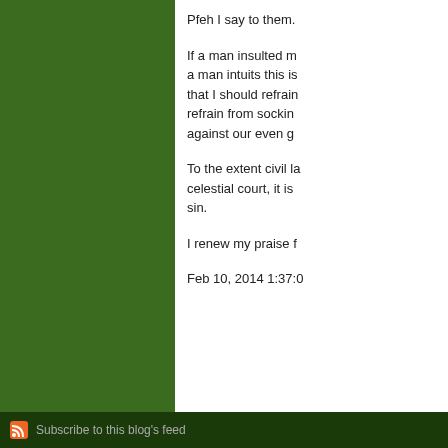Pfeh I say to them.
If a man insulted m... a man intuits this is... that I should refrain... refrain from sockin... against our even g...
To the extent civil la... celestial court, it is... sin.
I renew my praise f...
Feb 10, 2014 1:37:0...
Com...
Subscribe to this blog's feed